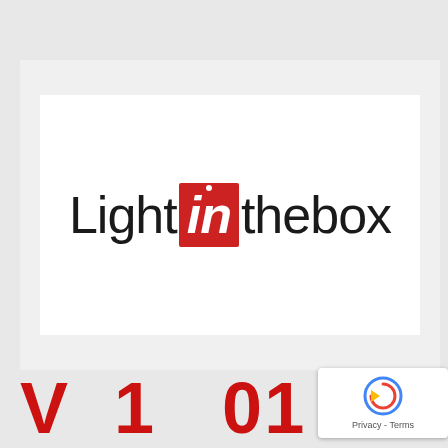[Figure (logo): LightInTheBox company logo — black text 'Light' and 'thebox' with red italic cube icon containing white 'in' text in the middle]
[Figure (other): reCAPTCHA badge widget showing circular arrow icon with 'Privacy - Terms' text]
V... 1... 01